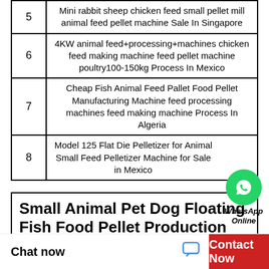| # | Description |
| --- | --- |
| 5 | Mini rabbit sheep chicken feed small pellet mill animal feed pellet machine Sale In Singapore |
| 6 | 4KW animal feed+processing+machines chicken feed making machine feed pellet machine poultry100-150kg Process In Mexico |
| 7 | Cheap Fish Animal Feed Pallet Food Pellet Manufacturing Machine feed processing machines feed making machine Process In Algeria |
| 8 | Model 125 Flat Die Pelletizer for Animal Small Feed Pelletizer Machine for Sale in Mexico |
[Figure (logo): WhatsApp Online green circle icon with phone handset, labeled WhatsApp Online in italic bold]
Small Animal Pet Dog Floating Fish Food Pellet Production Line Equipment Plant Prices Sinking
Chat now   Contact Now